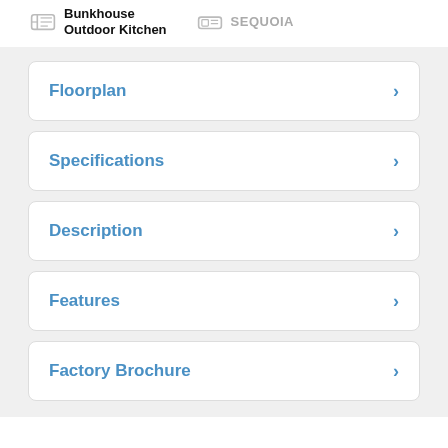Bunkhouse Outdoor Kitchen | SEQUOIA
Floorplan
Specifications
Description
Features
Factory Brochure